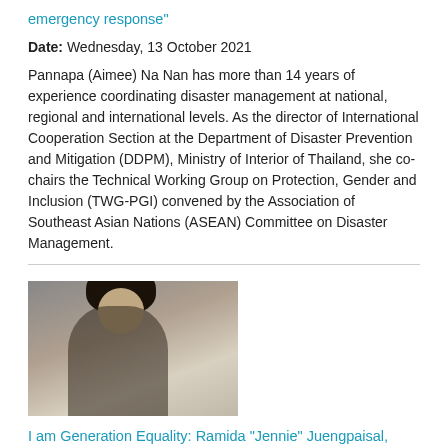emergency response"
Date: Wednesday, 13 October 2021
Pannapa (Aimee) Na Nan has more than 14 years of experience coordinating disaster management at national, regional and international levels. As the director of International Cooperation Section at the Department of Disaster Prevention and Mitigation (DDPM), Ministry of Interior of Thailand, she co-chairs the Technical Working Group on Protection, Gender and Inclusion (TWG-PGI) convened by the Association of Southeast Asian Nations (ASEAN) Committee on Disaster Management.
[Figure (photo): Photo of Ramida Juengpaisal, a young woman with long dark hair, sitting thoughtfully with her hand near her chin in what appears to be an office or classroom setting.]
I am Generation Equality: Ramida “Jennie” Juengpaisal, designer and developer of a COVID-19 tracker in Thailand
Date: Monday, 11 October 2021
Ramida Juengpaisal, 24, from Thailand, is a digital product